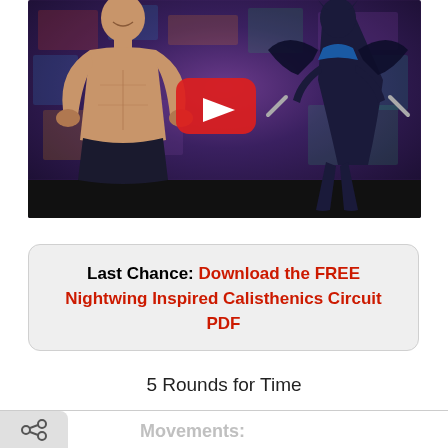[Figure (screenshot): YouTube video thumbnail showing a shirtless fit man posing with hands on hips on the left, a Nightwing superhero comic figure on the right, colorful comic book background, YouTube play button in center, black bar at bottom]
Last Chance: Download the FREE Nightwing Inspired Calisthenics Circuit PDF
5 Rounds for Time
Movements: